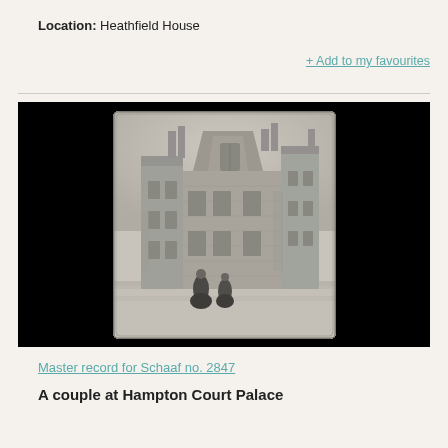Location: Heathfield House
+ Add to my favourites
[Figure (photo): An old sepia/calotype photograph of a large Gothic or Tudor-style stone building (Hampton Court Palace or similar historic house), with two figures standing on the lawn in the foreground. The photograph appears to be mounted on a glass plate or paper, with curved/rounded corners, set against a black background.]
Master record for Schaaf no. 2847
A couple at Hampton Court Palace